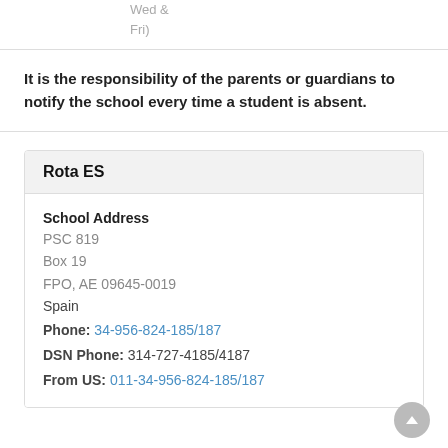Wed &
Fri)
It is the responsibility of the parents or guardians to notify the school every time a student is absent.
Rota ES
School Address
PSC 819
Box 19
FPO, AE 09645-0019
Spain
Phone: 34-956-824-185/187
DSN Phone: 314-727-4185/4187
From US: 011-34-956-824-185/187